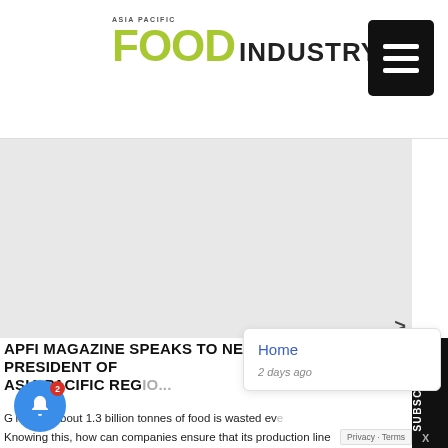ASIA PACIFIC FOOD INDUSTRY
[Figure (screenshot): Gray advertisement/image placeholder area]
APFI MAGAZINE SPEAKS TO NEILS AADIERS, PRESIDENT OF ASIA PACIFIC REG...
Globally, about 1.3 billion tonnes of food is wasted every year. Knowing this, how can companies ensure that its production line
[Figure (screenshot): Popup notification card showing 'Home' link and '2 days ago' timestamp]
[Figure (other): Blue notification bell button with red badge showing '2']